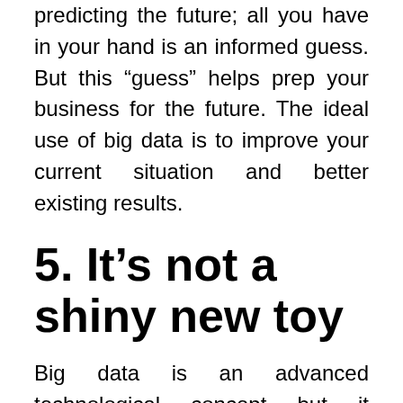predicting the future; all you have in your hand is an informed guess. But this “guess” helps prep your business for the future. The ideal use of big data is to improve your current situation and better existing results.
5. It’s not a shiny new toy
Big data is an advanced technological concept but it shouldn’t be seen as the be-all and end-all of your business’s IT endeavors. Do not give big data precedence over your existing IT infrastructure. Instead, it is important that your big data initiatives seamlessly integrate with your entire IT infrastructure. Thinking of big data as a solution that solves a set of problems for